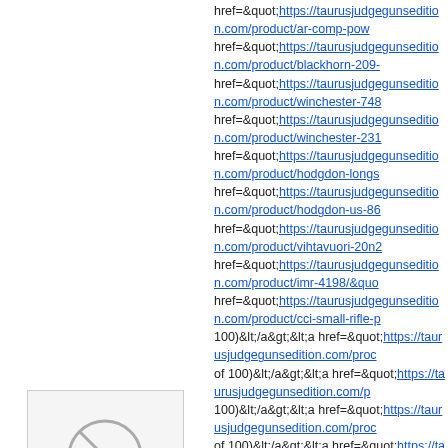href=&quot;https://taurusjudgegunsedition.com/product/ar-comp-pow... href=&quot;https://taurusjudgegunsedition.com/product/blackhorn-209-... href=&quot;https://taurusjudgegunsedition.com/product/winchester-748... href=&quot;https://taurusjudgegunsedition.com/product/winchester-231... href=&quot;https://taurusjudgegunsedition.com/product/hodgdon-longs... href=&quot;https://taurusjudgegunsedition.com/product/hodgdon-us-86... href=&quot;https://taurusjudgegunsedition.com/product/vihtavuori-20n2... href=&quot;https://taurusjudgegunsedition.com/product/imr-4198/&quo... href=&quot;https://taurusjudgegunsedition.com/product/cci-small-rifle-p... 100)&lt;/a&gt;&lt;a href=&quot;https://taurusjudgegunsedition.com/proc... of 100)&lt;/a&gt;&lt;a href=&quot;https://taurusjudgegunsedition.com/p... 100)&lt;/a&gt;&lt;a href=&quot;https://taurusjudgegunsedition.com/proc... of 100)&lt;/a&gt;&lt;a href=&quot;https://taurusjudgegunsedition.com/p... 1000 (10 Trays of 100)&lt;/a&gt;&lt;a href=&quot;https://taurusjudgegu... Jacketed Hollow Point Box of 20&lt;/a&gt;&lt;a href=&quot;https://tauru... Luger +P 50 Grain Fragmenting Hollow Point Lead-Free Box of 20&lt;/... Defense Ammunition 9mm Luger 108 Grain Monolithic Hollow Point Bo... rel=&quot;dofollow&quot;&gt;Winchester USA Ammunition 5.56x45mm... ammunition/&quot;; rel=&quot;dofollow&quot;&gt;IMI Ammunition 7.62x... firestick/&quot;; rel=&quot;dofollow&quot;&gt;Federal Premium FireStic... href=&quot;https://taurusjudgegunsedition.com/product/hornady-subso... Point Box of 25&lt;/a&gt;&lt;a href=&quot;https://taurusjudgegunsedition... 9mm Luger 115 Grain Di-Cut Jacketed Hollow Point&lt;/a&gt;&lt;a href... Ammunition 9mm Luger 115 Grain Lehigh Xtreme Penetrator Lead Fre... rel=&quot;dofollow&quot;&gt;Underwood Xtreme Defender Ammunitio... href=&quot;https://taurusjudgegunsedition.com/product/cci-primers/&qu... rel=&quot;dofollow&quot;&gt;IMR 4227 Smokeless Gun Powder&lt;/a... Rifle 5.56mm NATO-Spec Military Primers #41 Box of 1000 (10 Trays o... rel=&quot;dofollow&quot;&gt;CCI Large Pistol Magnum Primers #350 B... rel=&quot;dofollow&quot;&gt;Blackhorn 209 &lt;a href=&quot;https://taurusjudgegunsedition.com/product/rpk-74&qu... href=&quot;https://taurusjudgegunsedition.com/product/barrett-m107a... href=&quot;https://taurusjudgegunsedition.com/product/crimson-trace-l... Packaging&lt;/a&gt;&lt;a href=&quot;https://taurusjudgegunsedition.cor... href=&quot;https://taurusjudgegunsedition.com/product/springfield-sain... href=&quot;https://taurusjudgegunsedition.com/product/fn-scar-17s/&q... href=&quot;https://taurusjudgegunsedition.com/product/smith-and-wes... 16.5-inch 25Rds&lt;/a&gt;&lt;a href=&quot;https://taurusjuegqunsediti...
[Figure (illustration): Avatar placeholder circle with a diagonal line through it (no-avatar icon), grey background box]
нет аватары
Гость James Patrissi